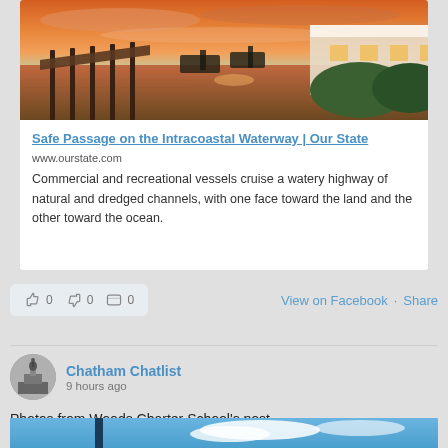[Figure (photo): Sunset photo of a marina/waterway with a wooden dock, boats, and a building with warm orange/pink sky reflected in the water.]
Safe Passage on the Intracoastal Waterway | Our State
www.ourstate.com
Commercial and recreational vessels cruise a watery highway of natural and dredged channels, with one face toward the land and the other toward the ocean.
0  0  0  View on Facebook · Share
Chatham Chatlist
9 hours ago
Photos from Woods Charter School's post
[Figure (photo): Partial bottom photo strip showing a blue sky with clouds.]